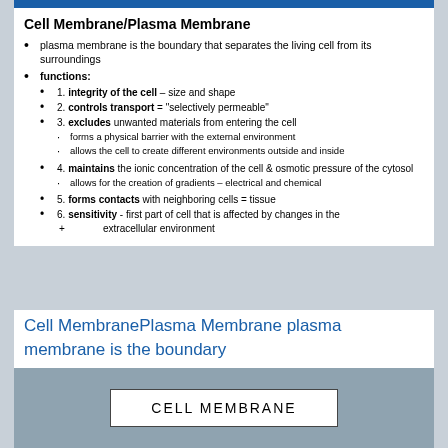Cell Membrane/Plasma Membrane
plasma membrane is the boundary that separates the living cell from its surroundings
functions:
1. integrity of the cell – size and shape
2. controls transport = 'selectively permeable'
3. excludes unwanted materials from entering the cell
forms a physical barrier with the external environment
allows the cell to create different environments outside and inside
4. maintains the ionic concentration of the cell & osmotic pressure of the cytosol
allows for the creation of gradients – electrical and chemical
5. forms contacts with neighboring cells = tissue
6. sensitivity - first part of cell that is affected by changes in the extracellular environment
Cell MembranePlasma Membrane plasma membrane is the boundary
CELL MEMBRANE